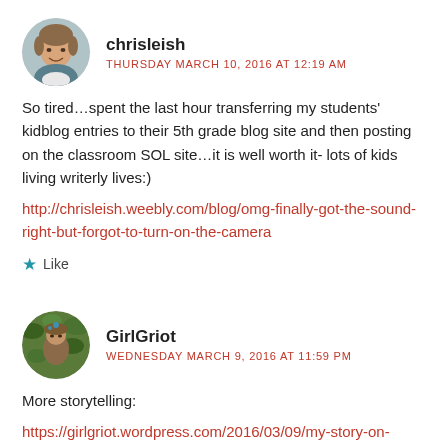[Figure (photo): Round avatar photo of chrisleish – a person with short hair]
chrisleish
THURSDAY MARCH 10, 2016 AT 12:19 AM
So tired…spent the last hour transferring my students' kidblog entries to their 5th grade blog site and then posting on the classroom SOL site…it is well worth it- lots of kids living writerly lives:)
http://chrisleish.weebly.com/blog/omg-finally-got-the-sound-right-but-forgot-to-turn-on-the-camera
★ Like
[Figure (photo): Round avatar photo of GirlGriot – appears to show foliage/nature]
GirlGriot
WEDNESDAY MARCH 9, 2016 AT 11:59 PM
More storytelling:
https://girlgriot.wordpress.com/2016/03/09/my-story-on-stage-redux/